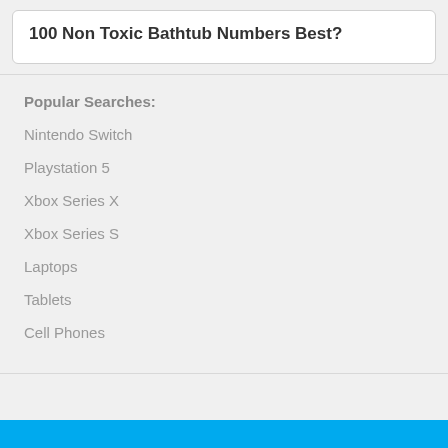100 Non Toxic Bathtub Numbers Best?
Popular Searches:
Nintendo Switch
Playstation 5
Xbox Series X
Xbox Series S
Laptops
Tablets
Cell Phones